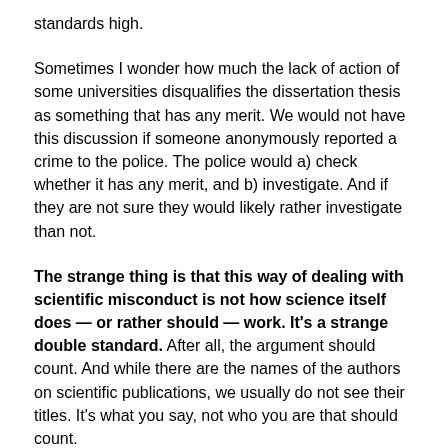standards high.
Sometimes I wonder how much the lack of action of some universities disqualifies the dissertation thesis as something that has any merit. We would not have this discussion if someone anonymously reported a crime to the police. The police would a) check whether it has any merit, and b) investigate. And if they are not sure they would likely rather investigate than not.
The strange thing is that this way of dealing with scientific misconduct is not how science itself does — or rather should — work. It's a strange double standard. After all, the argument should count. And while there are the names of the authors on scientific publications, we usually do not see their titles. It's what you say, not who you are that should count.
Okay, that was pretty naive. I strongly suspect that even with anonymous peer review there will probably be differences how some people are treated. And in a way asking for names...